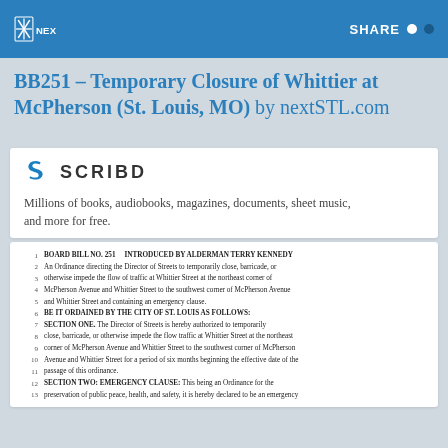NEXTSTL | SHARE
BB251 – Temporary Closure of Whittier at McPherson (St. Louis, MO) by nextSTL.com
[Figure (logo): Scribd logo with S icon and SCRIBD wordmark]
Millions of books, audiobooks, magazines, documents, sheet music, and more for free.
1 BOARD BILL NO. 251 INTRODUCED BY ALDERMAN TERRY KENNEDY
2 An Ordinance directing the Director of Streets to temporarily close, barricade, or
3 otherwise impede the flow of traffic at Whittier Street at the northeast corner of
4 McPherson Avenue and Whittier Street to the southwest corner of McPherson Avenue
5 and Whittier Street and containing an emergency clause.
6 BE IT ORDAINED BY THE CITY OF ST. LOUIS AS FOLLOWS:
7 SECTION ONE. The Director of Streets is hereby authorized to temporarily
8 close, barricade, or otherwise impede the flow traffic at Whittier Street at the northeast
9 corner of McPherson Avenue and Whittier Street to the southwest corner of McPherson
10 Avenue and Whittier Street for a period of six months beginning the effective date of the
11 passage of this ordinance.
12 SECTION TWO: EMERGENCY CLAUSE: This being an Ordinance for the
13 preservation of public peace, health, and safety, it is hereby declared to be an emergency